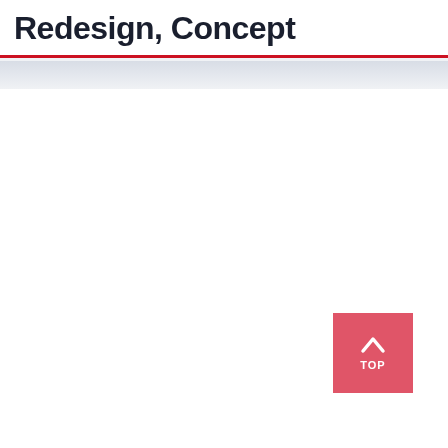Redesign, Concept
[Figure (other): A pink/red square button with an upward chevron arrow icon and the text TOP in white, positioned in the lower right area of the page.]